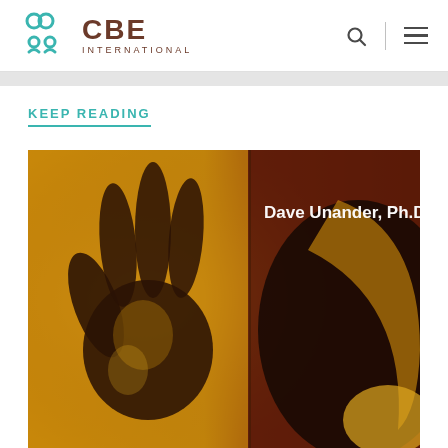CBE INTERNATIONAL
KEEP READING
[Figure (photo): Book cover image showing dark hand print silhouette on yellow/gold and brown/maroon background. Text reads 'Dave Unander, Ph.D.' in white on the right side of the cover.]